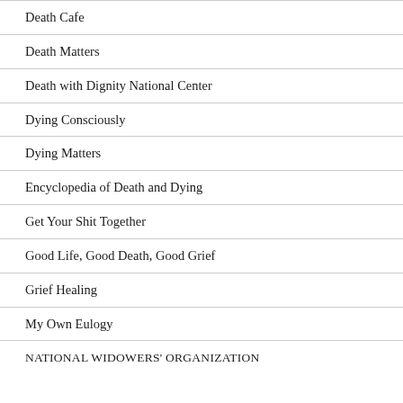Death Cafe
Death Matters
Death with Dignity National Center
Dying Consciously
Dying Matters
Encyclopedia of Death and Dying
Get Your Shit Together
Good Life, Good Death, Good Grief
Grief Healing
My Own Eulogy
NATIONAL WIDOWERS' ORGANIZATION